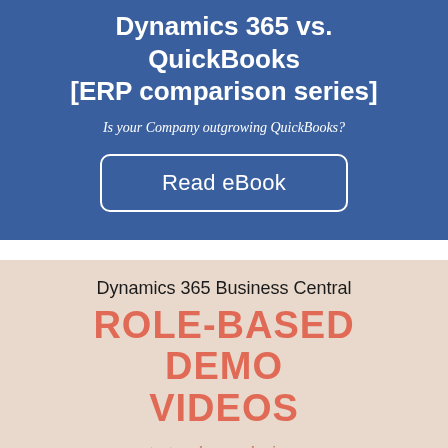Dynamics 365 vs. QuickBooks [ERP comparison series]
Is your Company outgrowing QuickBooks?
Read eBook
Dynamics 365 Business Central
ROLE-BASED DEMO VIDEOS
accountant - sales rep - business owner and more